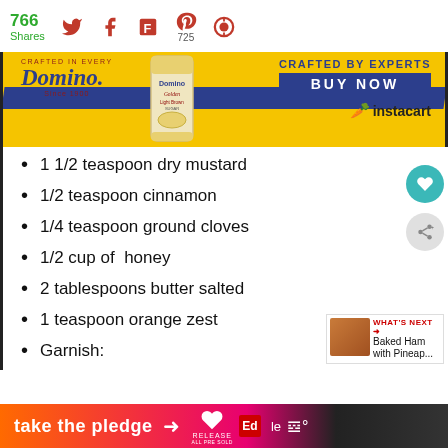766 Shares (social share bar with Twitter, Facebook, Flipboard, Pinterest 725, MightyBell icons)
[Figure (photo): Domino Sugar advertisement banner: Domino logo, golden sugar bag (Golden Light Brown Sugar), 'CRAFTED BY EXPERTS' text, 'BUY NOW' blue button, instacart logo, yellow and blue background]
1 1/2 teaspoon dry mustard
1/2 teaspoon cinnamon
1/4 teaspoon ground cloves
1/2 cup of  honey
2 tablespoons butter salted
1 teaspoon orange zest
Garnish:
take the pledge → RELEASE [logos]